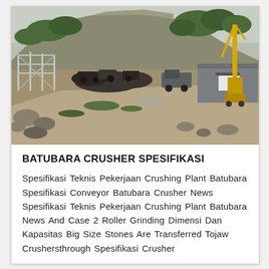[Figure (photo): Outdoor quarry/mining construction site. Rocky hillside in background with vegetation, large crane (yellow) on right side, various heavy machinery and equipment scattered across a dirt yard, steel frame structure on left, grey storage containers on right, overcast sky.]
BATUBARA CRUSHER SPESIFIKASI
Spesifikasi Teknis Pekerjaan Crushing Plant Batubara Spesifikasi Conveyor Batubara Crusher News Spesifikasi Teknis Pekerjaan Crushing Plant Batubara News And Case 2 Roller Grinding Dimensi Dan Kapasitas Big Size Stones Are Transferred Tojaw Crushersthrough Spesifikasi Crusher